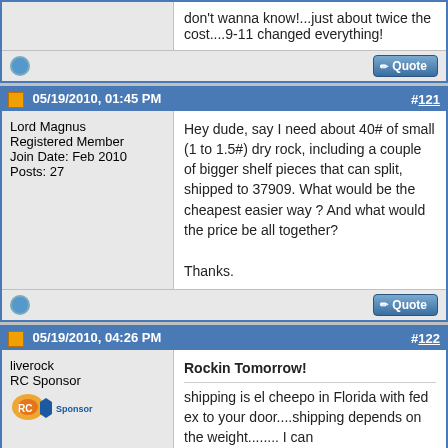don't wanna know!...just about twice the cost....9-11 changed everything!
05/19/2010, 01:45 PM  #121
Lord Magnus
Registered Member
Join Date: Feb 2010
Posts: 27
Hey dude, say I need about 40# of small (1 to 1.5#) dry rock, including a couple of bigger shelf pieces that can split, shipped to 37909. What would be the cheapest easier way ? And what would the price be all together?

Thanks.
05/19/2010, 04:26 PM  #122
liverock
RC Sponsor
Rockin Tomorrow!
shipping is el cheepo in Florida with fed ex to your door....shipping depends on the weight........ I can